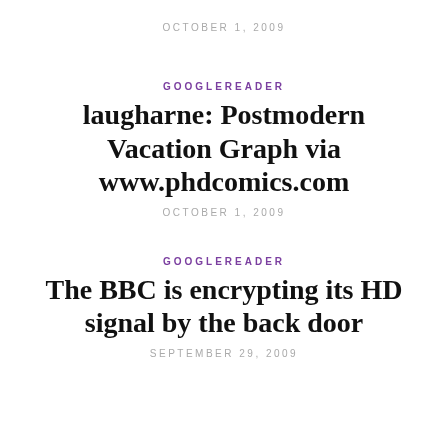OCTOBER 1, 2009
GOOGLEREADER
laugharne: Postmodern Vacation Graph via www.phdcomics.com
OCTOBER 1, 2009
GOOGLEREADER
The BBC is encrypting its HD signal by the back door
SEPTEMBER 29, 2009